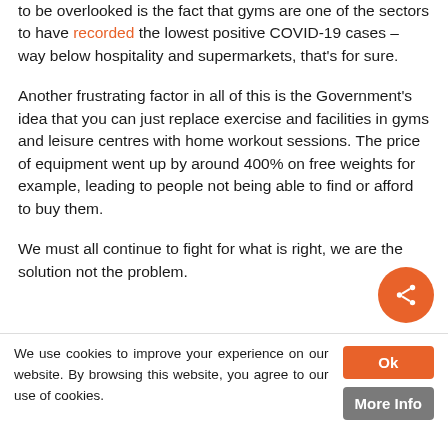to be overlooked is the fact that gyms are one of the sectors to have recorded the lowest positive COVID-19 cases – way below hospitality and supermarkets, that's for sure.
Another frustrating factor in all of this is the Government's idea that you can just replace exercise and facilities in gyms and leisure centres with home workout sessions. The price of equipment went up by around 400% on free weights for example, leading to people not being able to find or afford to buy them.
We must all continue to fight for what is right, we are the solution not the problem.
We use cookies to improve your experience on our website. By browsing this website, you agree to our use of cookies.